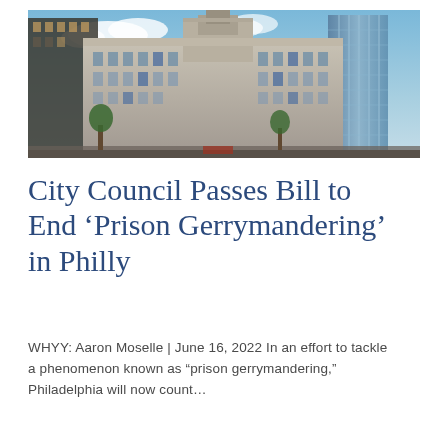[Figure (photo): Exterior photograph of Philadelphia City Hall building with surrounding skyscrapers under a partly cloudy blue sky]
City Council Passes Bill to End ‘Prison Gerrymandering’ in Philly
WHYY: Aaron Moselle | June 16, 2022 In an effort to tackle a phenomenon known as “prison gerrymandering,” Philadelphia will now count…